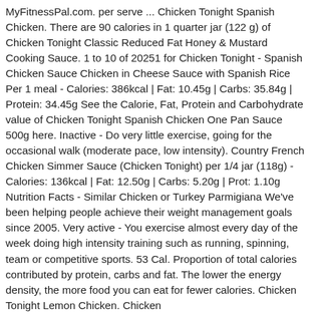MyFitnessPal.com. per serve ... Chicken Tonight Spanish Chicken. There are 90 calories in 1 quarter jar (122 g) of Chicken Tonight Classic Reduced Fat Honey & Mustard Cooking Sauce. 1 to 10 of 20251 for Chicken Tonight - Spanish Chicken Sauce Chicken in Cheese Sauce with Spanish Rice Per 1 meal - Calories: 386kcal | Fat: 10.45g | Carbs: 35.84g | Protein: 34.45g See the Calorie, Fat, Protein and Carbohydrate value of Chicken Tonight Spanish Chicken One Pan Sauce 500g here. Inactive - Do very little exercise, going for the occasional walk (moderate pace, low intensity). Country French Chicken Simmer Sauce (Chicken Tonight) per 1/4 jar (118g) - Calories: 136kcal | Fat: 12.50g | Carbs: 5.20g | Prot: 1.10g Nutrition Facts - Similar Chicken or Turkey Parmigiana We've been helping people achieve their weight management goals since 2005. Very active - You exercise almost every day of the week doing high intensity training such as running, spinning, team or competitive sports. 53 Cal. Proportion of total calories contributed by protein, carbs and fat. The lower the energy density, the more food you can eat for fewer calories. Chicken Tonight Lemon Chicken. Chicken